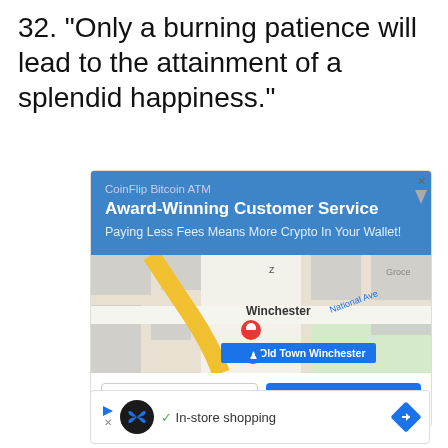32. “Only a burning patience will lead to the attainment of a splendid happiness.”
[Figure (screenshot): CoinFlip Bitcoin ATM advertisement card showing a blue header with text 'CoinFlip Bitcoin ATM', 'Award-Winning Customer Service', 'Paying Less Fees Means More Crypto In Your Wallet!', a Google Maps view of Old Town Winchester, and buttons for 'Store info' and 'Directions'.]
[Figure (screenshot): Second advertisement card showing an infinity logo icon, a checkmark with 'In-store shopping' text, and a blue arrow/directions icon.]